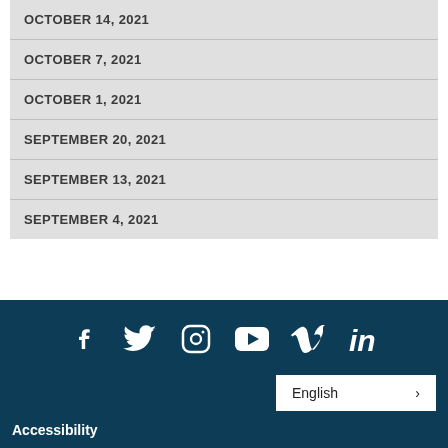OCTOBER 14, 2021
OCTOBER 7, 2021
OCTOBER 1, 2021
SEPTEMBER 20, 2021
SEPTEMBER 13, 2021
SEPTEMBER 4, 2021
[Figure (other): Social media icons: Facebook, Twitter, Instagram, YouTube, Vimeo, LinkedIn on dark blue footer background]
English >
Accessibility